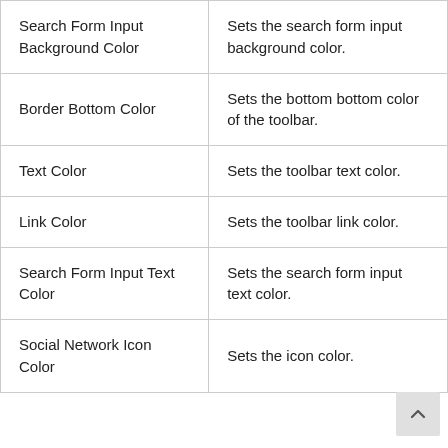| Search Form Input Background Color | Sets the search form input background color. |
| Border Bottom Color | Sets the bottom bottom color of the toolbar. |
| Text Color | Sets the toolbar text color. |
| Link Color | Sets the toolbar link color. |
| Search Form Input Text Color | Sets the search form input text color. |
| Social Network Icon Color | Sets the icon color. |